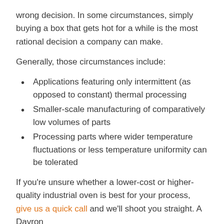wrong decision. In some circumstances, simply buying a box that gets hot for a while is the most rational decision a company can make.
Generally, those circumstances include:
Applications featuring only intermittent (as opposed to constant) thermal processing
Smaller-scale manufacturing of comparatively low volumes of parts
Processing parts where wider temperature fluctuations or less temperature uniformity can be tolerated
If you're unsure whether a lower-cost or higher-quality industrial oven is best for your process, give us a quick call and we'll shoot you straight. A Davron